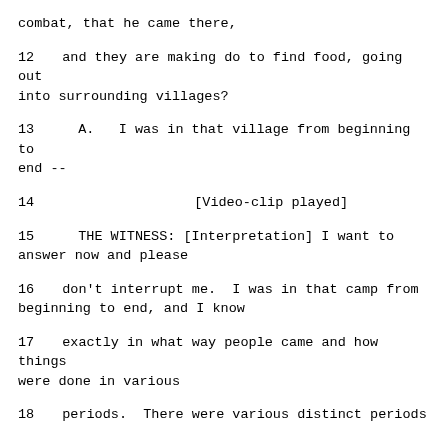combat, that he came there,
12    and they are making do to find food, going out into surrounding villages?
13        A.   I was in that village from beginning to end --
14                                    [Video-clip played]
15            THE WITNESS: [Interpretation] I want to answer now and please
16    don't interrupt me.  I was in that camp from beginning to end, and I know
17    exactly in what way people came and how things were done in various
18    periods.  There were various distinct periods